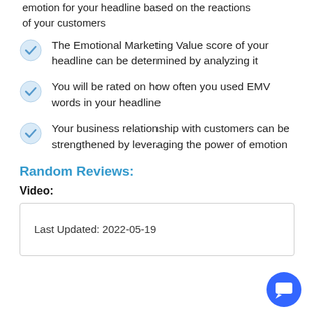emotion for your headline based on the reactions of your customers
The Emotional Marketing Value score of your headline can be determined by analyzing it
You will be rated on how often you used EMV words in your headline
Your business relationship with customers can be strengthened by leveraging the power of emotion
Random Reviews:
Video:
Last Updated: 2022-05-19